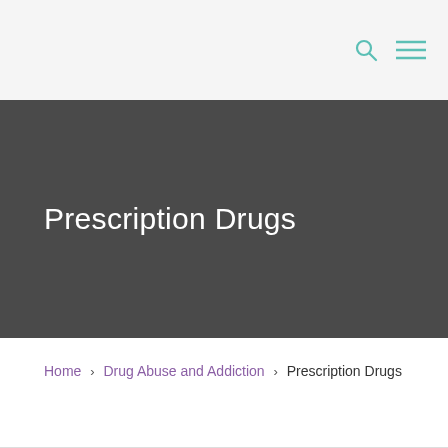Navigation bar with search and menu icons
Prescription Drugs
Home > Drug Abuse and Addiction > Prescription Drugs